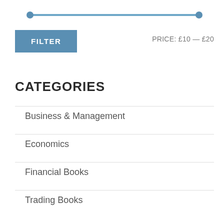[Figure (other): Price range slider with two blue circular handles on a horizontal track, positioned at £10 and £20]
FILTER
PRICE: £10 — £20
CATEGORIES
Business & Management
Economics
Financial Books
Trading Books
Travel & Discovery
Uncategorized